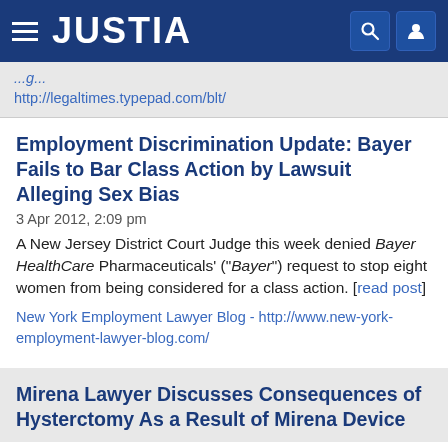JUSTIA
http://legaltimes.typepad.com/blt/
Employment Discrimination Update: Bayer Fails to Bar Class Action by Lawsuit Alleging Sex Bias
3 Apr 2012, 2:09 pm
A New Jersey District Court Judge this week denied Bayer HealthCare Pharmaceuticals' ("Bayer") request to stop eight women from being considered for a class action. [read post]
New York Employment Lawyer Blog - http://www.new-york-employment-lawyer-blog.com/
Mirena Lawyer Discusses Consequences of Hysterctomy As a Result of Mirena Device